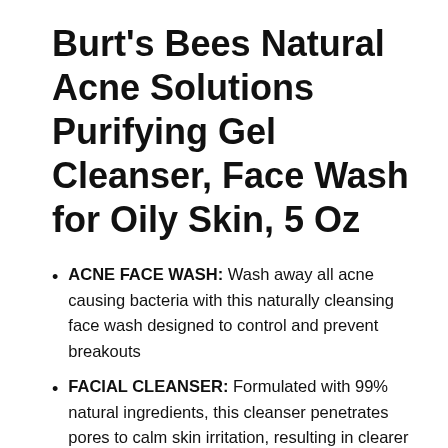Burt's Bees Natural Acne Solutions Purifying Gel Cleanser, Face Wash for Oily Skin, 5 Oz
ACNE FACE WASH: Wash away all acne causing bacteria with this naturally cleansing face wash designed to control and prevent breakouts
FACIAL CLEANSER: Formulated with 99% natural ingredients, this cleanser penetrates pores to calm skin irritation, resulting in clearer and healthier…
NATURAL FACE CLEANSER: Reduce acne with the help of naturally derived salicylic acid from Willow Bark